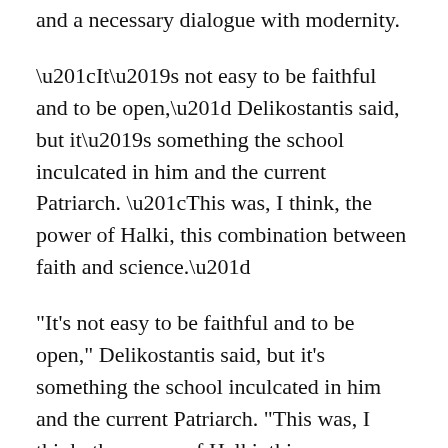and a necessary dialogue with modernity.
“It’s not easy to be faithful and to be open,” Delikostantis said, but it’s something the school inculcated in him and the current Patriarch. “This was, I think, the power of Halki, this combination between faith and science.”
What the future holds for the school remains unclear. Though there’s been little movement on the part of the Turkish government, the patriarchate remains hopeful, having even drawn up renovation plans for potential future use.
“For Turkey, it could be an ornament, you know, a school which produces open people,” Delikostantis said. “Open-minded, nonfundamentalist people of